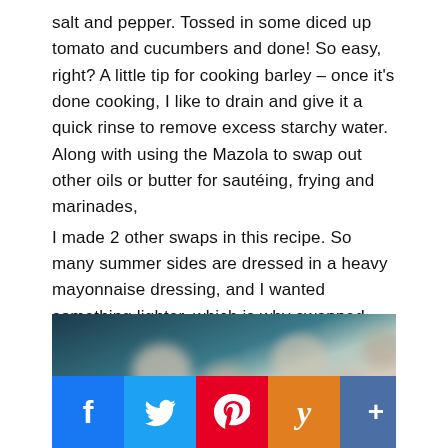salt and pepper. Tossed in some diced up tomato and cucumbers and done! So easy, right? A little tip for cooking barley – once it's done cooking, I like to drain and give it a quick rinse to remove excess starchy water. Along with using the Mazola to swap out other oils or butter for sautéing, frying and marinades, I made 2 other swaps in this recipe. So many summer sides are dressed in a heavy mayonnaise dressing, and I wanted something lighter, which is why swapped that and I used the corn oil as a base to the dressing. Also, I used barley to swap out the more traditional pasta which is a much more nutritious option.
[Figure (photo): Blurry close-up food photo, appears to show seafood or a salad dish on a dark background]